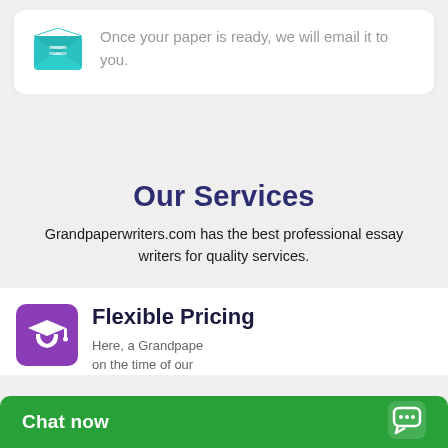[Figure (illustration): Teal email/envelope icon with open flap and letter lines]
Once your paper is ready, we will email it to you.
Our Services
Grandpaperwriters.com has the best professional essay writers for quality services.
[Figure (illustration): White graduation cap icon on purple/violet rounded square background]
Flexible Pricing
Here, a Grandpape on the time of our
[Figure (screenshot): Green chat now bar at the bottom with chat bubble icon]